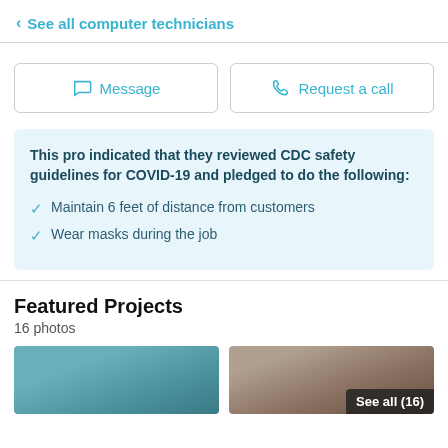< See all computer technicians
Message | Request a call
This pro indicated that they reviewed CDC safety guidelines for COVID-19 and pledged to do the following:
✓ Maintain 6 feet of distance from customers
✓ Wear masks during the job
Featured Projects
16 photos
[Figure (photo): Two photos side by side showing featured projects; right photo has 'See all (16)' overlay]